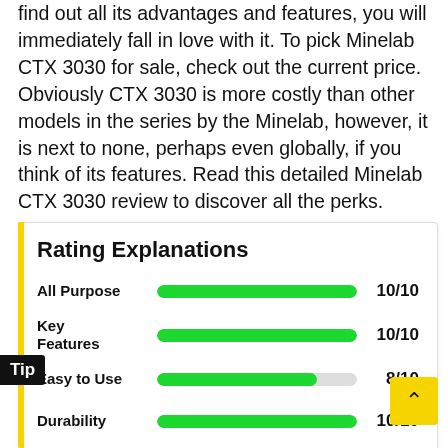find out all its advantages and features, you will immediately fall in love with it. To pick Minelab CTX 3030 for sale, check out the current price. Obviously CTX 3030 is more costly than other models in the series by the Minelab, however, it is next to none, perhaps even globally, if you think of its features. Read this detailed Minelab CTX 3030 review to discover all the perks.
[Figure (bar-chart): Rating Explanations]